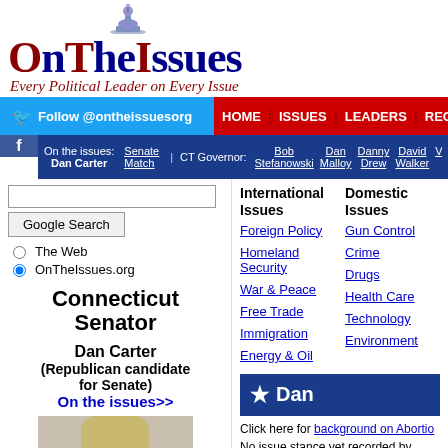[Figure (logo): OnTheIssues website logo with capitol dome icon and tagline 'Every Political Leader on Every Issue']
Follow @ontheissuesorg | HOME | ISSUES | LEADERS | RECENT | GRID | ARCH
On the issues: Dan Carter | Senate Match | CT Governor: Bob Stefanowski | Dan Malloy | Danny Drew | David Walker | Vis
Google Search | The Web | OnTheIssues.org
Connecticut Senator
Dan Carter (Republican candidate for Senate) On the issues>>
[Figure (photo): Photo of Dan Carter, a middle-aged man with blond hair]
International Issues
Foreign Policy
Homeland Security
War & Peace
Free Trade
Immigration
Energy & Oil
Domestic Issues
Gun Control
Crime
Drugs
Health Care
Technology
Environment
★ Dan
Click here for background on Abortion
No issue stance yet recorded by